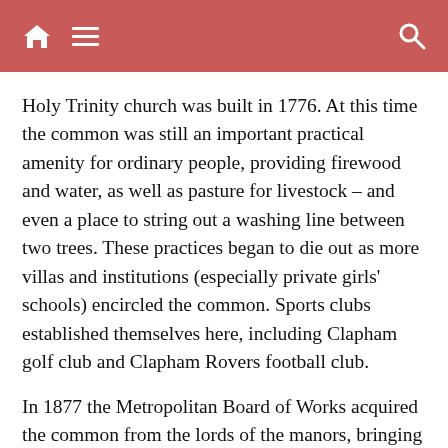Holy Trinity church was built in 1776. At this time the common was still an important practical amenity for ordinary people, providing firewood and water, as well as pasture for livestock – and even a place to string out a washing line between two trees. These practices began to die out as more villas and institutions (especially private girls' schools) encircled the common. Sports clubs established themselves here, including Clapham golf club and Clapham Rovers football club.
In 1877 the Metropolitan Board of Works acquired the common from the lords of the manors, bringing a bandstand here from South Kensington in 1890. Clapham became a popular place for day trips, with a classier reputation than the closest alternative